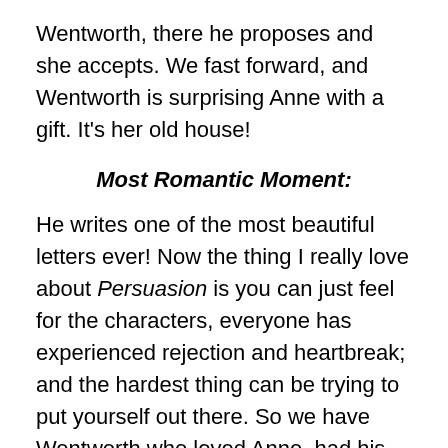Wentworth, there he proposes and she accepts. We fast forward, and Wentworth is surprising Anne with a gift. It's her old house!
Most Romantic Moment:
He writes one of the most beautiful letters ever! Now the thing I really love about Persuasion is you can just feel for the characters, everyone has experienced rejection and heartbreak; and the hardest thing can be trying to put yourself out there. So we have Wentworth who loved Anne, had his heart thrown through a shedder. He realizes that he loves Anne, but should he say something? Does she still love him? Is she angry over the way he treated her? Has she moved on? Will she reject him again? This has to be one of the bravest and romantic things ever.
I can listen no longer in silence. I must speak to you by